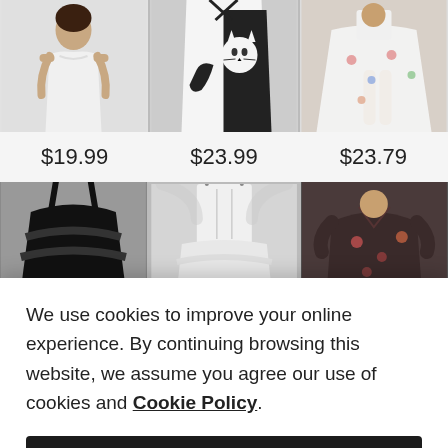[Figure (photo): Row of three product photos: white cold-shoulder dress, black-and-white cat print dress, floral high-low skirt. Below each: price labels $19.99, $23.99, $23.79. Second row showing partial images of black ruffle dress, white corset dress, dark floral dress.]
We use cookies to improve your online experience. By continuing browsing this website, we assume you agree our use of cookies and Cookie Policy.
Agree